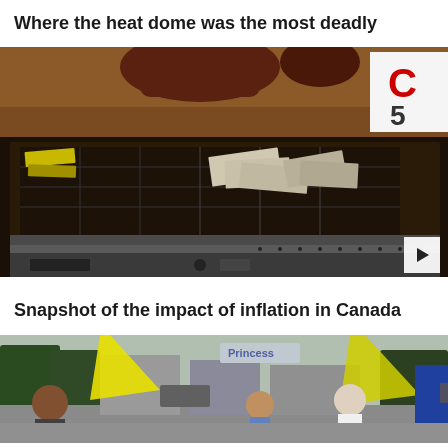Where the heat dome was the most deadly
[Figure (photo): Video thumbnail showing an open cash register drawer with cash tray, viewed from above. A person's hand is visible at the top. In the background, a sign with letter 'C' and number '5' in red is partially visible.]
Snapshot of the impact of inflation in Canada
[Figure (photo): Video thumbnail showing a street scene with people walking. A 'Princess' street sign is visible. Yellow flags or banners are visible in the foreground. Several people including a child are visible in the scene.]